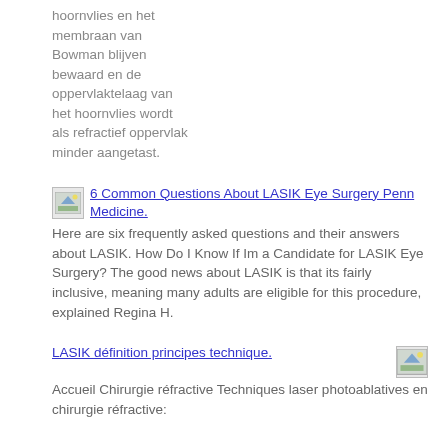hoornvlies en het membraan van Bowman blijven bewaard en de oppervlaktelaag van het hoornvlies wordt als refractief oppervlak minder aangetast.
[Figure (illustration): Small thumbnail image icon]
6 Common Questions About LASIK Eye Surgery Penn Medicine. Here are six frequently asked questions and their answers about LASIK. How Do I Know If Im a Candidate for LASIK Eye Surgery? The good news about LASIK is that its fairly inclusive, meaning many adults are eligible for this procedure, explained Regina H.
LASIK définition principes technique. Accueil Chirurgie réfractive Techniques laser photoablatives en chirurgie réfractive:
[Figure (illustration): Small thumbnail image icon]